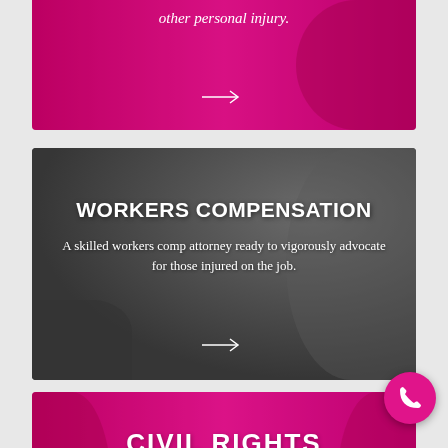[Figure (photo): Pink/magenta background card showing partial text about personal injury at top of page]
other personal injury.
[Figure (photo): Grayscale background card with workers compensation information showing silhouette of people]
WORKERS COMPENSATION
A skilled workers comp attorney ready to vigorously advocate for those injured on the job.
[Figure (photo): Pink/magenta background card with civil rights section showing people silhouettes]
CIVIL RIGHTS
Aggressive and dedicated civil rights attorney helping individuals get the justice they